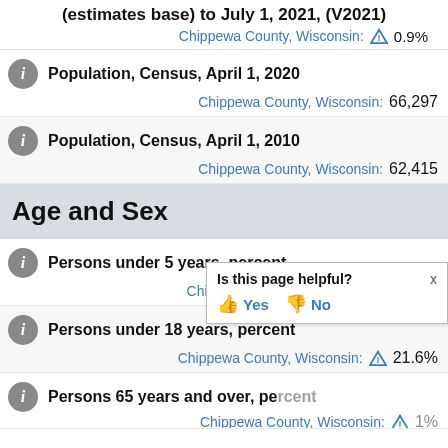(estimates base) to July 1, 2021, (V2021)
Chippewa County, Wisconsin: 0.9%
Population, Census, April 1, 2020
Chippewa County, Wisconsin: 66,297
Population, Census, April 1, 2010
Chippewa County, Wisconsin: 62,415
Age and Sex
Persons under 5 years, percent
Chippewa County, Wisconsin: 5.2%
Persons under 18 years, percent
Chippewa County, Wisconsin: 21.6%
Persons 65 years and over, percent
Chippewa County, Wisconsin:
Is this page helpful? Yes No